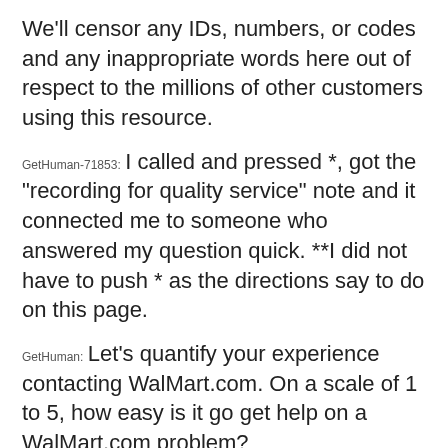We'll censor any IDs, numbers, or codes and any inappropriate words here out of respect to the millions of other customers using this resource.
GetHuman-71853: I called and pressed *, got the "recording for quality service" note and it connected me to someone who answered my question quick. **I did not have to push * as the directions say to do on this page.
GetHuman: Let's quantify your experience contacting WalMart.com. On a scale of 1 to 5, how easy is it go get help on a WalMart.com problem?
GetHuman-71853: I'd give them a three out of five for ease of finding your way to help.
GetHuman: What about quality of communication. How would you rate that on a 1 to 5 scale?
GetHuman-71853: I'd give them a two out of five on communication.